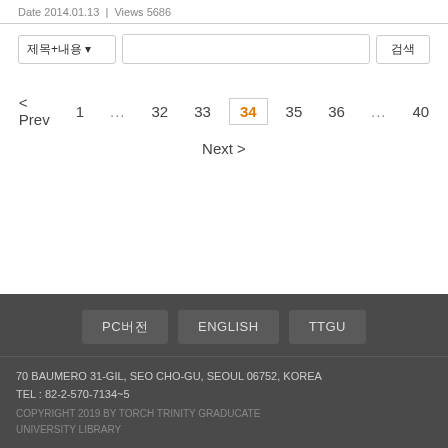Date 2014.01.13  |  Views 5686
[Figure (screenshot): Search bar with dropdown selector showing Korean text and a search button]
[Figure (screenshot): Pagination controls: < Prev  1  ...  32  33  [34]  35  36  ...  40  Next >]
PC버전  ENGLISH  TTGU
70 BAUMERO 31-GIL, SEO CHO-GU, SEOUL 06752, KOREA
TEL : 82-2-570-7134~5
COPYRIGHT 2019 BY TORCH TRINITY GRADUCATE UNIVERSITY LIBRARY